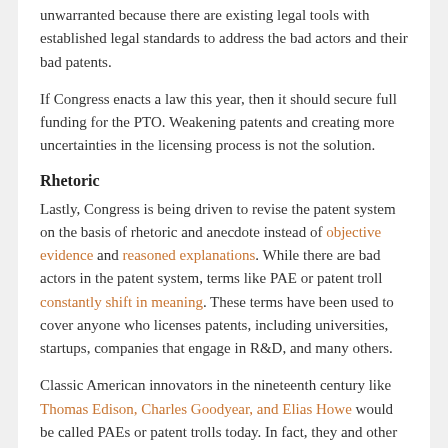unwarranted because there are existing legal tools with established legal standards to address the bad actors and their bad patents.
If Congress enacts a law this year, then it should secure full funding for the PTO. Weakening patents and creating more uncertainties in the licensing process is not the solution.
Rhetoric
Lastly, Congress is being driven to revise the patent system on the basis of rhetoric and anecdote instead of objective evidence and reasoned explanations. While there are bad actors in the patent system, terms like PAE or patent troll constantly shift in meaning. These terms have been used to cover anyone who licenses patents, including universities, startups, companies that engage in R&D, and many others.
Classic American innovators in the nineteenth century like Thomas Edison, Charles Goodyear, and Elias Howe would be called PAEs or patent trolls today. In fact, they and other patent owners made royalty demands against thousands of end users.
Congress should exercise restraint when it is being asked to